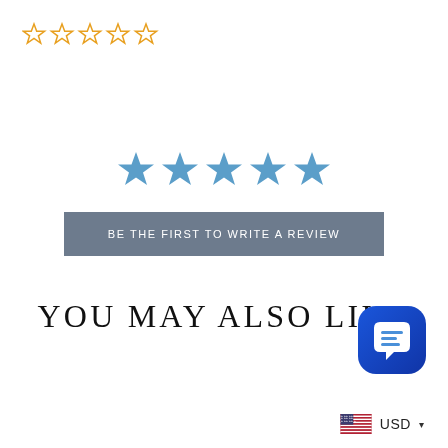[Figure (illustration): Five outline star icons in orange/gold color, representing a 0-star rating widget, positioned at top-left]
[Figure (illustration): Five filled blue stars centered on the page representing a rating display]
BE THE FIRST TO WRITE A REVIEW
YOU MAY ALSO LIKE
[Figure (illustration): Blue chat bubble icon with message lines, rounded square background, positioned bottom-right]
USD ▾ (with US flag icon)